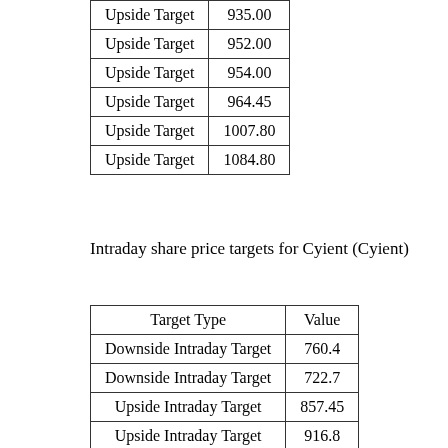| Target Type | Value |
| --- | --- |
| Upside Target | 935.00 |
| Upside Target | 952.00 |
| Upside Target | 954.00 |
| Upside Target | 964.45 |
| Upside Target | 1007.80 |
| Upside Target | 1084.80 |
Intraday share price targets for Cyient (Cyient)
| Target Type | Value |
| --- | --- |
| Downside Intraday Target | 760.4 |
| Downside Intraday Target | 722.7 |
| Upside Intraday Target | 857.45 |
| Upside Intraday Target | 916.8 |
| Upside Intraday Target | 819.75 |